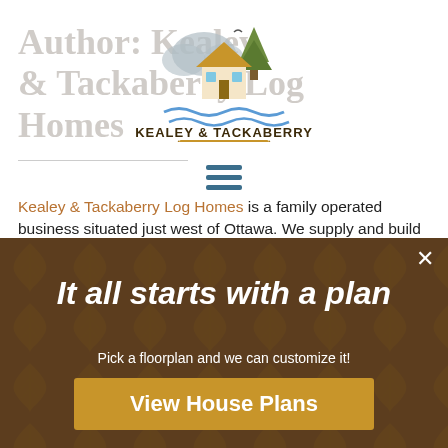Author: Kealey & Tackaberry Log Homes
[Figure (logo): Kealey & Tackaberry Log Homes logo with house, trees, and waves graphic]
Kealey & Tackaberry Log Homes is a family operated business situated just west of Ottawa. We supply and build complete handcrafted and milled log homes. With the use of natural, non-manufactured materials, the homes we build are virtually free of toxins normally associated with new construction and thus provide excellent indoor air quality. We believe in old fashion...
It all starts with a plan
Pick a floorplan and we can customize it!
View House Plans